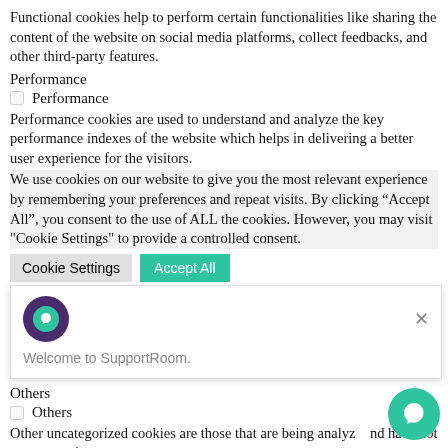Functional cookies help to perform certain functionalities like sharing the content of the website on social media platforms, collect feedbacks, and other third-party features.
Performance
Performance (checkbox)
Performance cookies are used to understand and analyze the key performance indexes of the website which helps in delivering a better user experience for the visitors.
We use cookies on our website to give you the most relevant experience by remembering your preferences and repeat visits. By clicking “Accept All”, you consent to the use of ALL the cookies. However, you may visit "Cookie Settings" to provide a controlled consent.
Cookie Settings  Accept All
Advertisement
Advertisement (checkbox)
Advertisement cookies are used to provide visitors with relevant ads and marketing campaigns. These cookies track visitors across websites and collect information...
Others
Others (checkbox)
Other uncategorized cookies are those that are being analyzed and have not been classified into a category as yet.
SAVE & ACCEPT
Go to Top
[Figure (screenshot): SupportRoom chat popup overlay with purple icon and teal inner icon, showing 'Welcome to SupportRoom.' text and a close X button]